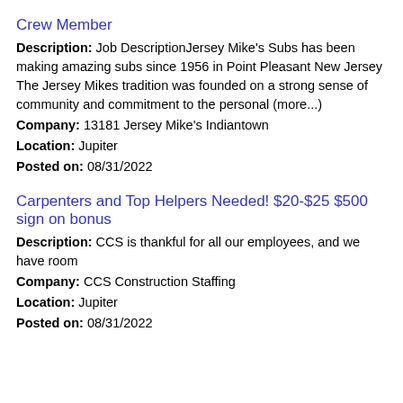Crew Member
Description: Job DescriptionJersey Mike's Subs has been making amazing subs since 1956 in Point Pleasant New Jersey The Jersey Mikes tradition was founded on a strong sense of community and commitment to the personal (more...)
Company: 13181 Jersey Mike's Indiantown
Location: Jupiter
Posted on: 08/31/2022
Carpenters and Top Helpers Needed! $20-$25 $500 sign on bonus
Description: CCS is thankful for all our employees, and we have room
Company: CCS Construction Staffing
Location: Jupiter
Posted on: 08/31/2022